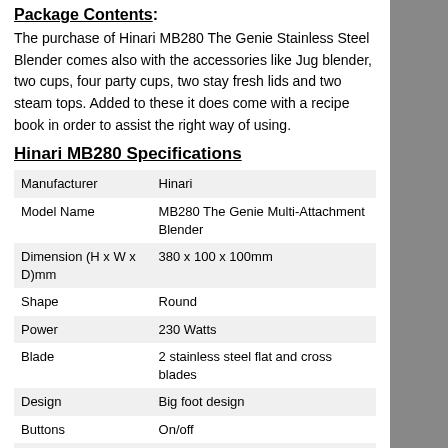Package Contents:
The purchase of Hinari MB280 The Genie Stainless Steel Blender comes also with the accessories like Jug blender, two cups, four party cups, two stay fresh lids and two steam tops. Added to these it does come with a recipe book in order to assist the right way of using.
Hinari MB280 Specifications
|  |  |
| --- | --- |
| Manufacturer | Hinari |
| Model Name | MB280 The Genie Multi-Attachment Blender |
| Dimension (H x W x D)mm | 380 x 100 x 100mm |
| Shape | Round |
| Power | 230 Watts |
| Blade | 2 stainless steel flat and cross blades |
| Design | Big foot design |
| Buttons | On/off |
| Functions | Blending, chopping, mixing, grinding, puree, juicing, grating and whisking |